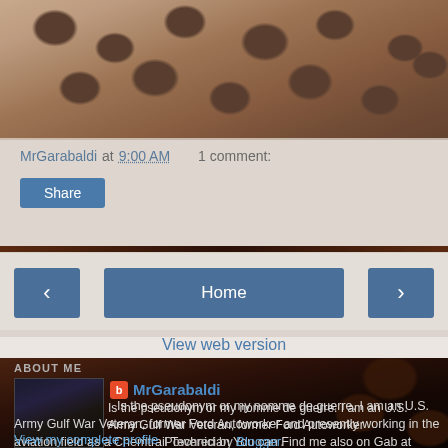[Figure (photo): Coffee beans background photo at the top of the page]
MrGarabaldi at 9:00 AM    1 comment:
Share
< Home >
View web version
ABOUT ME
[Figure (photo): Profile photo of MrGarabaldi, a dark image of a person]
MrGarabaldi
Is the pseudonym or my nomme de guerre. I am an U.S. Army Gulf War Veteran, former Ford Autoworker and presently working in the aviation field as a Chemtrail Technician You can Find me also on Gab at Bob@MrGarabaldi and at MeWe
View my complete profile
Powered by Blogger.